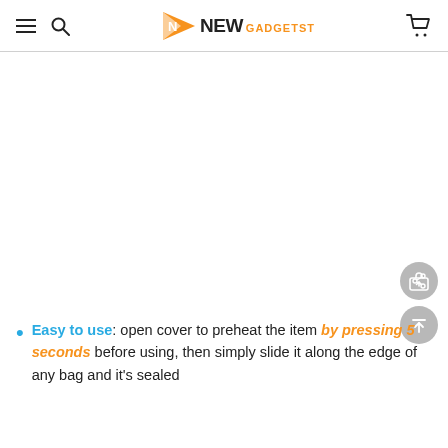NEW GADGETST
[Figure (logo): NewGadgetst logo with orange N play-button icon and black NEW text with orange GADGETST text]
Easy to use: open cover to preheat the item by pressing 5 seconds before using, then simply slide it along the edge of any bag and it's sealed